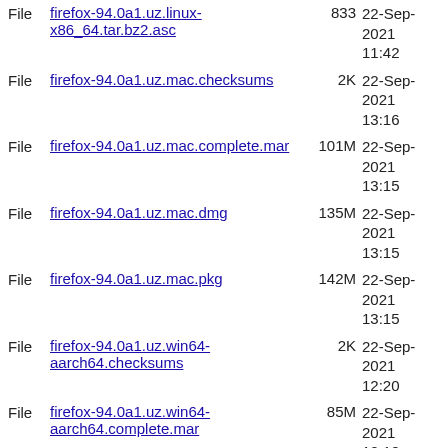File  firefox-94.0a1.uz.linux-x86_64.tar.bz2.asc  833  22-Sep-2021 11:42
File  firefox-94.0a1.uz.mac.checksums  2K  22-Sep-2021 13:16
File  firefox-94.0a1.uz.mac.complete.mar  101M  22-Sep-2021 13:15
File  firefox-94.0a1.uz.mac.dmg  135M  22-Sep-2021 13:15
File  firefox-94.0a1.uz.mac.pkg  142M  22-Sep-2021 13:15
File  firefox-94.0a1.uz.win64-aarch64.checksums  2K  22-Sep-2021 12:20
File  firefox-94.0a1.uz.win64-aarch64.complete.mar  85M  22-Sep-2021 12:18
File  firefox-94.0a1.uz.win64-aarch64.installer.exe  80M  22-Sep-2021 12:18
File  firefox-94.0a1.uz.win64-aarch64.zip  120M  22-Sep-2021 12:18
File  firefox-94.0a1.vi.linux-i686.checksums  2K  22-Sep-2021 12:12
File  firefox-94.0a1.vi.linux-i686.complete.mar  66M  22-Sep-2021 12:12